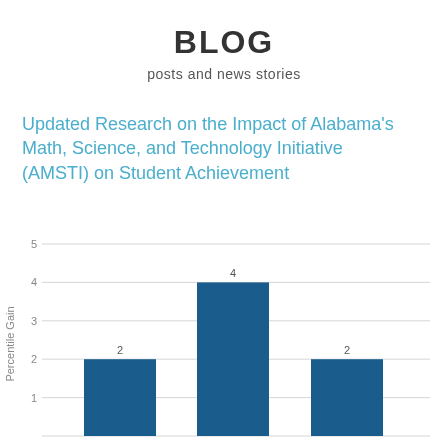BLOG
posts and news stories
Updated Research on the Impact of Alabama's Math, Science, and Technology Initiative (AMSTI) on Student Achievement
[Figure (bar-chart): ]